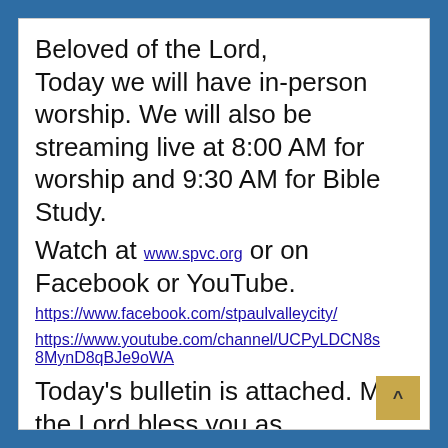Beloved of the Lord, Today we will have in-person worship. We will also be streaming live at 8:00 AM for worship and 9:30 AM for Bible Study. Watch at www.spvc.org or on Facebook or YouTube.
https://www.facebook.com/stpaulvalleycity/
https://www.youtube.com/channel/UCPyLDCN8s8MynD8qBJe9oWA
Today's bulletin is attached. May the Lord bless you as